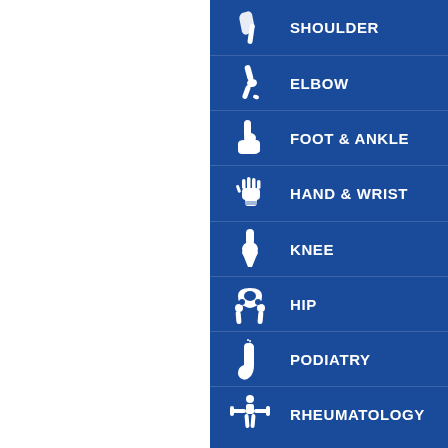[Figure (infographic): Medical body part navigation menu with icons and labels on blue background: SHOULDER, ELBOW, FOOT & ANKLE, HAND & WRIST, KNEE, HIP, PODIATRY, RHEUMATOLOGY]
SHOULDER
ELBOW
FOOT & ANKLE
HAND & WRIST
KNEE
HIP
PODIATRY
RHEUMATOLOGY